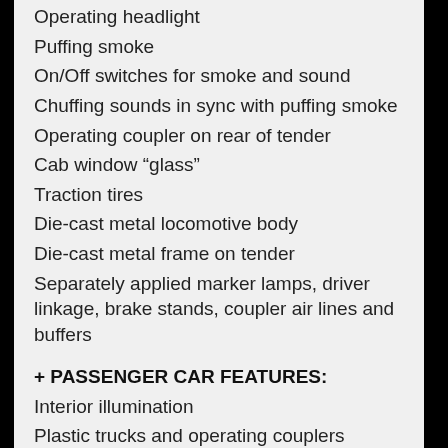Operating headlight
Puffing smoke
On/Off switches for smoke and sound
Chuffing sounds in sync with puffing smoke
Operating coupler on rear of tender
Cab window “glass”
Traction tires
Die-cast metal locomotive body
Die-cast metal frame on tender
Separately applied marker lamps, driver linkage, brake stands, coupler air lines and buffers
+ PASSENGER CAR FEATURES:
Interior illumination
Plastic trucks and operating couplers